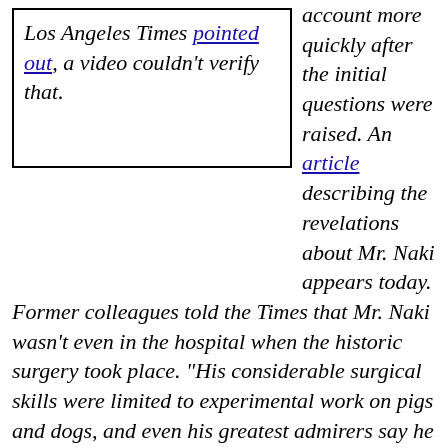Los Angeles Times pointed out, a video couldn't verify that.
account more quickly after the initial questions were raised. An article describing the revelations about Mr. Naki appears today.
Former colleagues told the Times that Mr. Naki wasn't even in the hospital when the historic surgery took place. "His considerable surgical skills were limited to experimental work on pigs and dogs, and even his greatest admirers say he